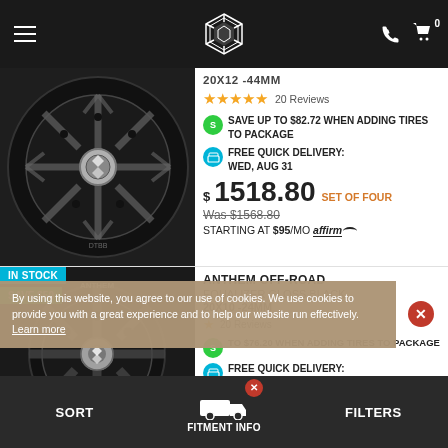Navigation header with menu icon, logo, phone and cart icons
[Figure (photo): Black spoked alloy wheel product photo on dark background]
20X12 -44MM
★★★★★ 20 Reviews
SAVE UP TO $82.72 WHEN ADDING TIRES TO PACKAGE
FREE QUICK DELIVERY: WED, AUG 31
$1518.80 SET OF FOUR
Was $1568.80
STARTING AT $95/MO affirm
IN STOCK
SAVE $50
ANTHEM OFF-ROAD
EQUALIZER GLOSS BLACK
20X10 -24MM
20 Reviews
TO $76.20 WHEN ADDING TIRES TO PACKAGE
FREE QUICK DELIVERY:
By using this website, you agree to our use of cookies. We use cookies to provide you with a great experience and to help our website run effectively. Learn more
SORT | FITMENT INFO | FILTERS